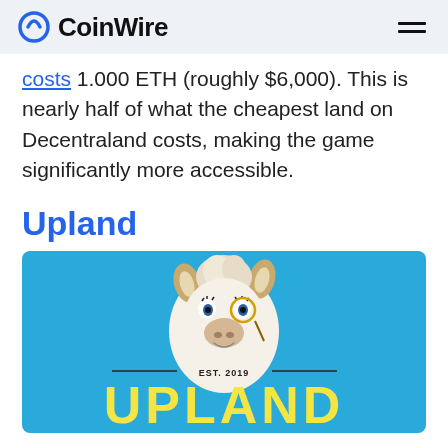CoinWire
costs 1.000 ETH (roughly $6,000). This is nearly half of what the cheapest land on Decentraland costs, making the game significantly more accessible.
Upland
[Figure (illustration): Upland game promotional image showing a llama mascot wearing a monocle on a blue background with 'EST. 2019' text and 'UPLAND' in large yellow letters]